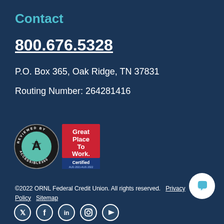Contact
800.676.5328
P.O. Box 365, Oak Ridge, TN 37831
Routing Number: 264281416
[Figure (logo): Reviewed by Accessible360 circular badge with star A logo]
[Figure (logo): Great Place To Work Certified AUG 2021-AUG 2022 USA badge]
©2022 ORNL Federal Credit Union. All rights reserved.   Privacy Policy   Sitemap
[Figure (other): Social media icons: Twitter, Facebook, LinkedIn, Instagram, YouTube]